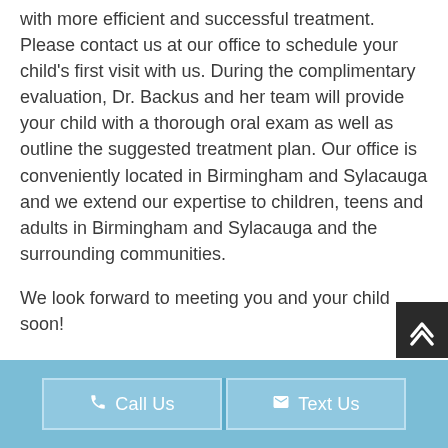with more efficient and successful treatment. Please contact us at our office to schedule your child's first visit with us. During the complimentary evaluation, Dr. Backus and her team will provide your child with a thorough oral exam as well as outline the suggested treatment plan. Our office is conveniently located in Birmingham and Sylacauga and we extend our expertise to children, teens and adults in Birmingham and Sylacauga and the surrounding communities.

We look forward to meeting you and your child soon!
Call Us   Text Us